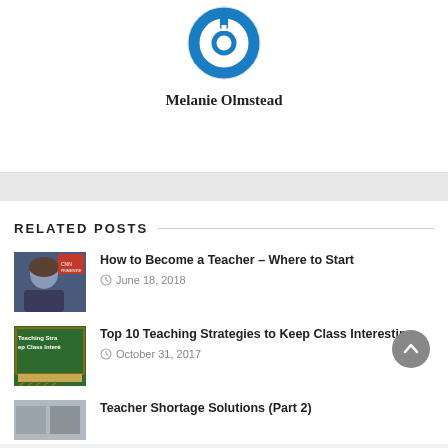[Figure (logo): Blue circular power button logo icon]
Melanie Olmstead
RELATED POSTS
[Figure (photo): Portrait photo of a woman with long hair]
How to Become a Teacher – Where to Start
June 18, 2018
[Figure (photo): Green chalkboard with text Teaching Strategies to Keep Class Interesting]
Top 10 Teaching Strategies to Keep Class Interesting
October 31, 2017
[Figure (photo): Partial thumbnail image for Teacher Shortage Solutions]
Teacher Shortage Solutions (Part 2)